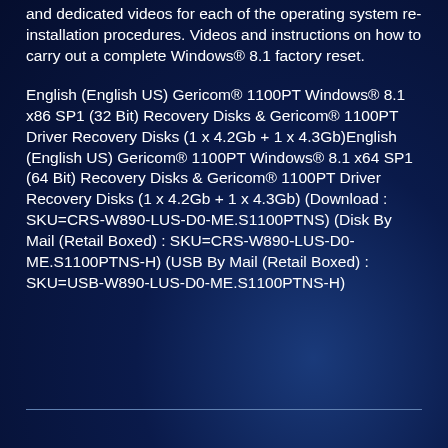and dedicated videos for each of the operating system re-installation procedures. Videos and instructions on how to carry out a complete Windows® 8.1 factory reset.
English (English US) Gericom® 1100PT Windows® 8.1 x86 SP1 (32 Bit) Recovery Disks & Gericom® 1100PT Driver Recovery Disks (1 x 4.2Gb + 1 x 4.3Gb)English (English US) Gericom® 1100PT Windows® 8.1 x64 SP1 (64 Bit) Recovery Disks & Gericom® 1100PT Driver Recovery Disks (1 x 4.2Gb + 1 x 4.3Gb) (Download : SKU=CRS-W890-LUS-D0-ME.S1100PTNS) (Disk By Mail (Retail Boxed) : SKU=CRS-W890-LUS-D0-ME.S1100PTNS-H) (USB By Mail (Retail Boxed) : SKU=USB-W890-LUS-D0-ME.S1100PTNS-H)